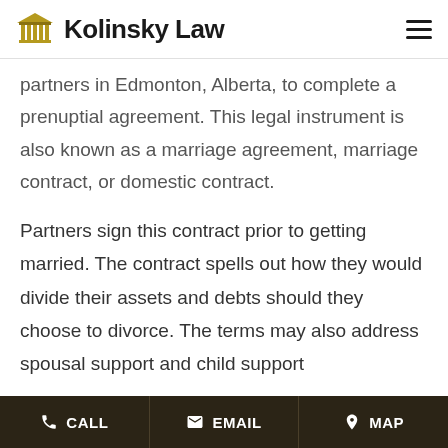Kolinsky Law
partners in Edmonton, Alberta, to complete a prenuptial agreement. This legal instrument is also known as a marriage agreement, marriage contract, or domestic contract.
Partners sign this contract prior to getting married. The contract spells out how they would divide their assets and debts should they choose to divorce. The terms may also address spousal support and child support
CALL  EMAIL  MAP